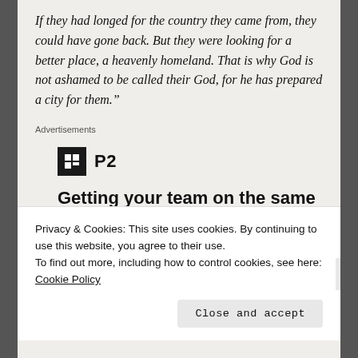If they had longed for the country they came from, they could have gone back. But they were looking for a better place, a heavenly homeland. That is why God is not ashamed to be called their God, for he has prepared a city for them.”
Advertisements
[Figure (logo): P2 logo — black square with white H-like icon, followed by bold text 'P2']
Getting your team on the same page is easy. And free.
Privacy & Cookies: This site uses cookies. By continuing to use this website, you agree to their use.
To find out more, including how to control cookies, see here: Cookie Policy
Close and accept